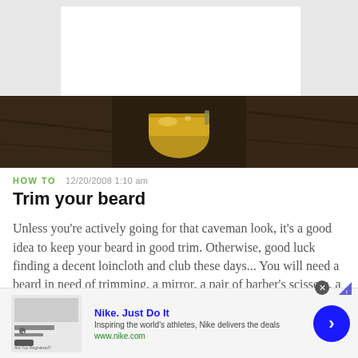[Figure (photo): Partial view of a white rectangular area on a grey background, representing the top of a webpage]
[Figure (photo): Hero image showing a golden/brass shaving bowl or mug on a dark brown background]
HOW TO   12/20/2008 1:10 am
Trim your beard
Unless you're actively going for that caveman look, it's a good idea to keep your beard in good trim. Otherwise, good luck finding a decent loincloth and club these days... You will need a beard in need of trimming, a mirror, a pair of barber's scissors, a wide toothed beard ...more
[Figure (screenshot): Nike advertisement banner: 'Nike. Just Do It' with tagline 'Inspiring the world's athletes, Nike delivers the deals' and URL www.nike.com, with a blue circular arrow CTA button]